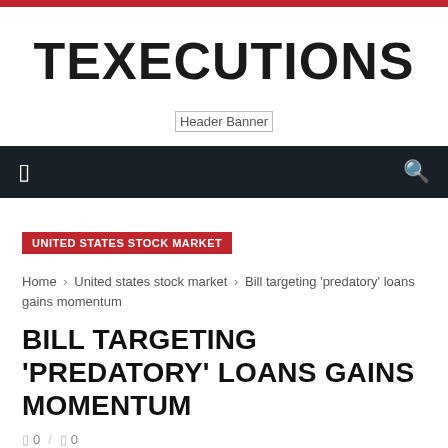TEXECUTIONS
[Figure (illustration): Header Banner placeholder image]
UNITED STATES STOCK MARKET
Home › United states stock market › Bill targeting 'predatory' loans gains momentum
BILL TARGETING 'PREDATORY' LOANS GAINS MOMENTUM